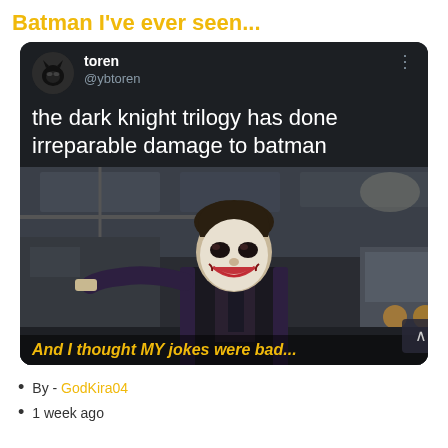Batman I've ever seen...
[Figure (screenshot): A tweet screenshot from user toren (@ybtoren) reading 'the dark knight trilogy has done irreparable damage to batman', with an embedded image of Heath Ledger as the Joker from The Dark Knight, with subtitle text 'And I thought MY jokes were bad...']
By - GodKira04
1 week ago